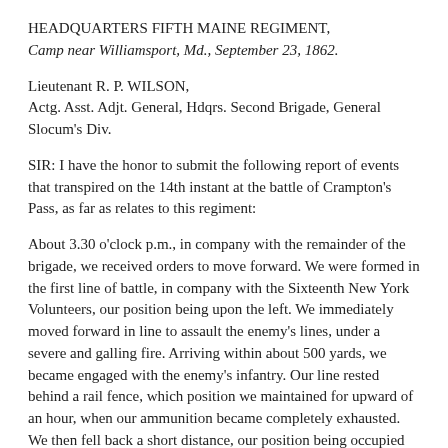HEADQUARTERS FIFTH MAINE REGIMENT, Camp near Williamsport, Md., September 23, 1862.
Lieutenant R. P. WILSON,
Actg. Asst. Adjt. General, Hdqrs. Second Brigade, General Slocum's Div.
SIR: I have the honor to submit the following report of events that transpired on the 14th instant at the battle of Crampton's Pass, as far as relates to this regiment:
About 3.30 o'clock p.m., in company with the remainder of the brigade, we received orders to move forward. We were formed in the first line of battle, in company with the Sixteenth New York Volunteers, our position being upon the left. We immediately moved forward in line to assault the enemy's lines, under a severe and galling fire. Arriving within about 500 yards, we became engaged with the enemy's infantry. Our line rested behind a rail fence, which position we maintained for upward of an hour, when our ammunition became completely exhausted. We then fell back a short distance, our position being occupied by a portion of General Newton's brigade. We then received orders to fix bayonets and charge upon the enemy, which we did at